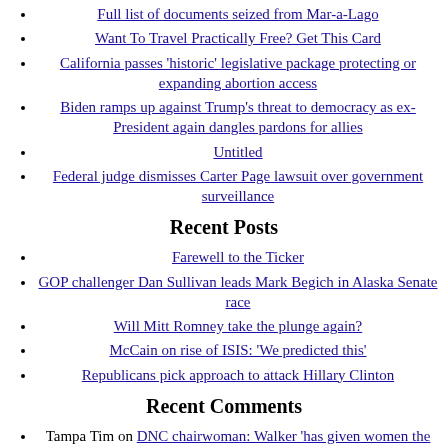Full list of documents seized from Mar-a-Lago
Want To Travel Practically Free? Get This Card
California passes 'historic' legislative package protecting or expanding abortion access
Biden ramps up against Trump's threat to democracy as ex-President again dangles pardons for allies
Untitled
Federal judge dismisses Carter Page lawsuit over government surveillance
Recent Posts
Farewell to the Ticker
GOP challenger Dan Sullivan leads Mark Begich in Alaska Senate race
Will Mitt Romney take the plunge again?
McCain on rise of ISIS: 'We predicted this'
Republicans pick approach to attack Hillary Clinton
Recent Comments
Tampa Tim on DNC chairwoman: Walker 'has given women the back of his hand'
Rudy NYC on DNC chairwoman: Walker 'has given women